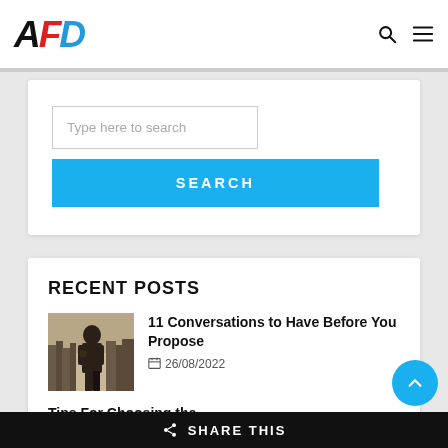AFD
Type here to search
SEARCH
RECENT POSTS
[Figure (photo): Man in suit thinking, standing outside with a cityscape background]
11 Conversations to Have Before You Propose
26/08/2022
Tips For Choosing the
SHARE THIS